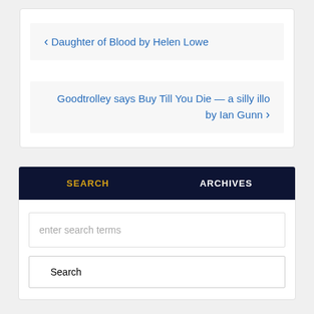‹ Daughter of Blood by Helen Lowe
Goodtrolley says Buy Till You Die — a silly illo by Ian Gunn ›
SEARCH
ARCHIVES
enter search terms
Search